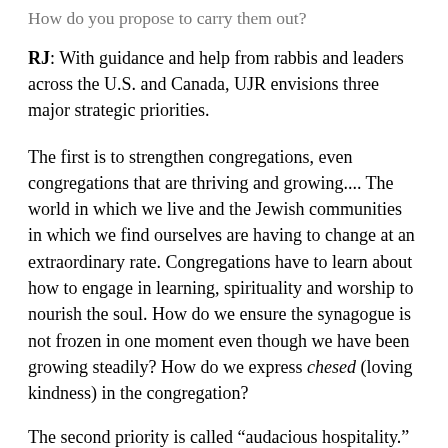How do you propose to carry them out?
RJ: With guidance and help from rabbis and leaders across the U.S. and Canada, UJR envisions three major strategic priorities.
The first is to strengthen congregations, even congregations that are thriving and growing.... The world in which we live and the Jewish communities in which we find ourselves are having to change at an extraordinary rate. Congregations have to learn about how to engage in learning, spirituality and worship to nourish the soul. How do we ensure the synagogue is not frozen in one moment even though we have been growing steadily? How do we express chesed (loving kindness) in the congregation?
The second priority is called “audacious hospitality.”